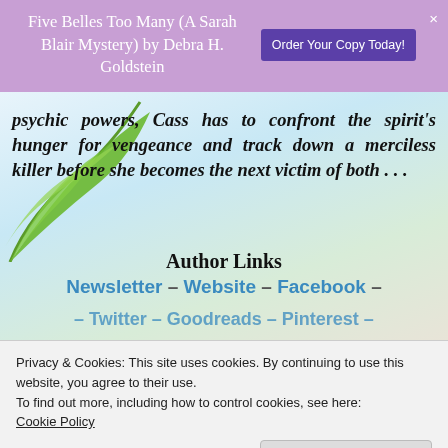Five Belles Too Many (A Sarah Blair Mystery) by Debra H. Goldstein  Order Your Copy Today!  ×
psychic powers, Cass has to confront the spirit's hunger for vengeance and track down a merciless killer before she becomes the next victim of both . . .
Author Links
Newsletter – Website  –  Facebook –
Twitter – Goodreads – Pinterest –
Privacy & Cookies: This site uses cookies. By continuing to use this website, you agree to their use.
To find out more, including how to control cookies, see here:
Cookie Policy
Close and accept
[Figure (photo): Horizontal strip of small book cover thumbnail images at the bottom of the page]